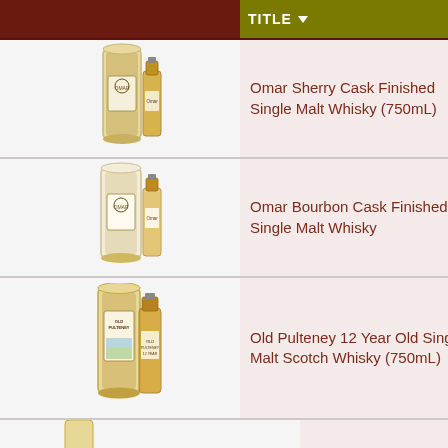|  | TITLE | PRICE |  |
| --- | --- | --- | --- |
| [image] | Omar Sherry Cask Finished Single Malt Whisky (750mL) | $74.95 | In s... ADD TO |
| [image] | Omar Bourbon Cask Finished Single Malt Whisky | $64.50 | In s... ADD TO |
| [image] | Old Pulteney 12 Year Old Single Malt Scotch Whisky (750mL) | $51.31 | In s... ADD TO |
| [image] |  |  |  |